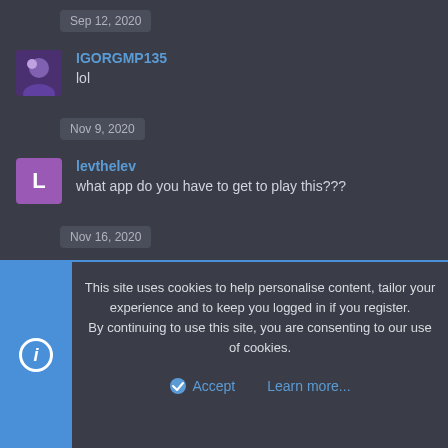Sep 12, 2020
IGORGMP135
lol
Nov 9, 2020
levthelev
what app do you have to get to play this???
Nov 16, 2020
Fan Games
This site uses cookies to help personalise content, tailor your experience and to keep you logged in if you register.
By continuing to use this site, you are consenting to our use of cookies.
Accept
Learn more...